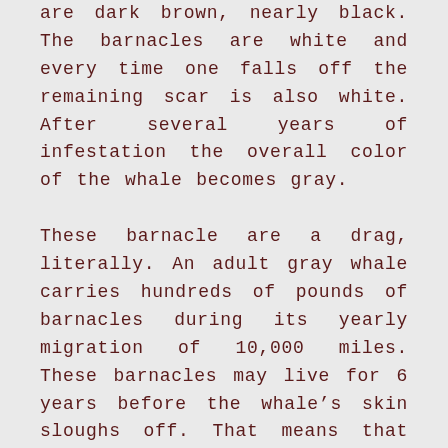are dark brown, nearly black. The barnacles are white and every time one falls off the remaining scar is also white. After several years of infestation the overall color of the whale becomes gray.
These barnacle are a drag, literally. An adult gray whale carries hundreds of pounds of barnacles during its yearly migration of 10,000 miles. These barnacles may live for 6 years before the whale’s skin sloughs off. That means that one barnacle can travel 60,000 miles in its lifetime and never even move! What a life. Summers in